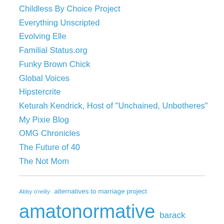Childless By Choice Project
Everything Unscripted
Evolving Elle
Familial Status.org
Funky Brown Chick
Global Voices
Hipstercrite
Keturah Kendrick, Host of "Unchained, Unbotheres"
My Pixie Blog
OMG Chronicles
The Future of 40
The Not Mom
Abby o'reilly alternatives to marriage project amatonormative barack obama being single bella depaulo blog crawl chemistry.com childfree compulsory heterosexuality Dating David Bedrick denial discrimination discrimination against singles Donna Ward Dr. Pam